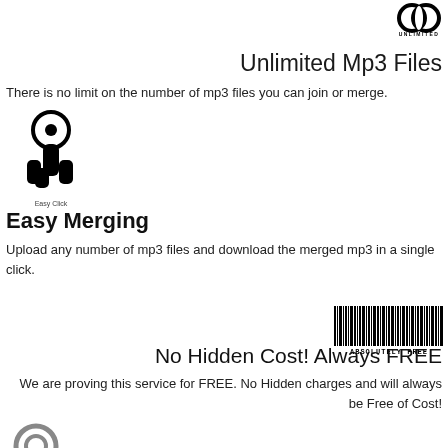[Figure (logo): Unlimited logo mark - two overlapping circles/infinity symbol with UNLIMITED text below]
Unlimited Mp3 Files
There is no limit on the number of mp3 files you can join or merge.
[Figure (illustration): Easy Click hand pointer/touch icon]
Easy Merging
Upload any number of mp3 files and download the merged mp3 in a single click.
[Figure (illustration): Absolutely Free barcode-style text graphic]
No Hidden Cost! Always FREE
We are proving this service for FREE. No Hidden charges and will always be Free of Cost!
[Figure (illustration): Key icon for privacy protection]
Privacy Protection
All uploaded mp3 files will automatically get deleted within a few